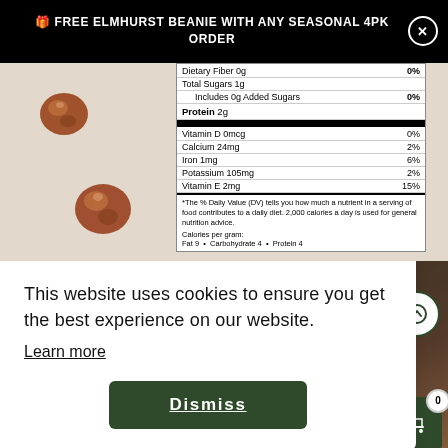🎁 FREE ELMHURST BEANIE WITH ANY SEASONAL 4PK ORDER
[Figure (screenshot): Partial nutrition facts label showing: Dietary Fiber 0g 0%, Total Sugars 1g, Includes 0g Added Sugars 0%, Protein 2g, thick black bar, Vitamin D 0mcg 0%, Calcium 24mg 2%, Iron 1mg 6%, Potassium 105mg 2%, Vitamin E 2mg 15%, thin black bar, footnote about % Daily Value, Calories per gram: Fat 9 • Carbohydrate 4 • Protein 4]
This website uses cookies to ensure you get the best experience on our website.
Learn more
Dismiss